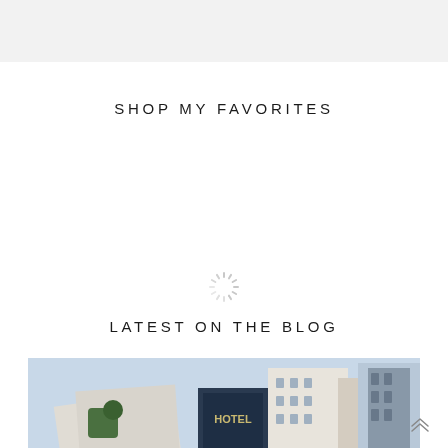SHOP MY FAVORITES
[Figure (illustration): Loading spinner icon — circular dashed rays in light gray]
LATEST ON THE BLOG
[Figure (photo): Photograph of Parisian-style buildings and hotel facade viewed at an angle, with blue sky]
[Figure (illustration): Double chevron up arrow icon in bottom right corner]